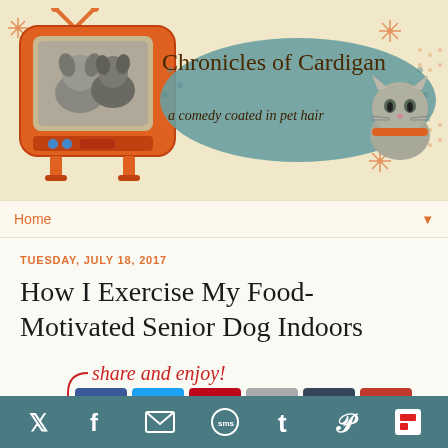[Figure (illustration): Blog header banner for 'Chronicles of Cardigan' blog. Features a retro orange TV set with a black-and-white photo of two dogs (corgis) on screen, decorative orange atomic-age star/asterisk shapes on a light yellow background, a teal/green oval blob behind the blog title text, and a cat photo in the top right corner.]
Chronicles of Cardigan
a comedy coated in pet hair
Home
TUESDAY, JULY 18, 2017
How I Exercise My Food-Motivated Senior Dog Indoors
share and enjoy!
[Figure (infographic): Social sharing buttons bar showing icons for Twitter, Facebook, Email, SMS, Tumblr, Pinterest, and Flipboard on a teal/dark green background.]